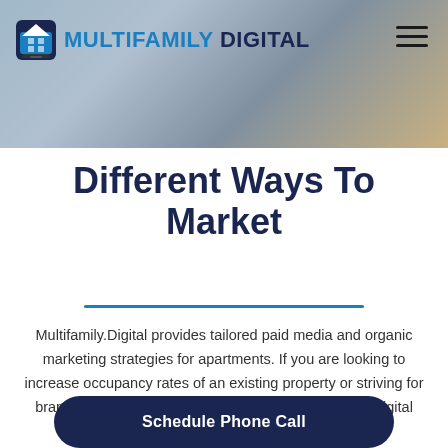[Figure (screenshot): Multifamily Digital website header with logo showing house icon and brand name, hamburger menu, and background showing digital signage screens]
Different Ways To Market
Multifamily.Digital provides tailored paid media and organic marketing strategies for apartments. If you are looking to increase occupancy rates of an existing property or striving for brand recognition of a new development, Multifamily.Digital has the solution for you.
Schedule Phone Call